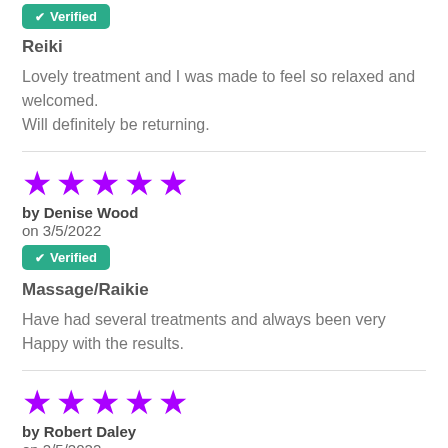✔ Verified
Reiki
Lovely treatment and I was made to feel so relaxed and welcomed. Will definitely be returning.
★★★★★
by Denise Wood
on 3/5/2022
✔ Verified
Massage/Raikie
Have had several treatments and always been very Happy with the results.
★★★★★
by Robert Daley
on 2/5/2022
✔ Verified